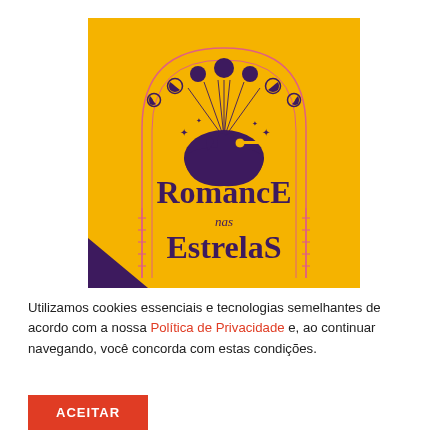[Figure (logo): Romance nas Estrelas logo: yellow/amber background with arched border, purple hand holding a key with moon phases above and radiating lines, serif text reading 'RomancE nas EstrelaS' in dark purple]
Utilizamos cookies essenciais e tecnologias semelhantes de acordo com a nossa Política de Privacidade e, ao continuar navegando, você concorda com estas condições.
ACEITAR